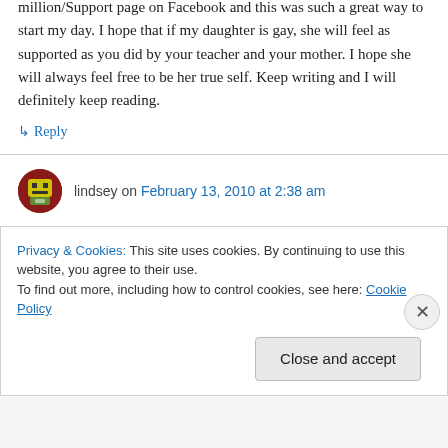million/Support page on Facebook and this was such a great way to start my day. I hope that if my daughter is gay, she will feel as supported as you did by your teacher and your mother. I hope she will always feel free to be her true self. Keep writing and I will definitely keep reading.
↳ Reply
lindsey on February 13, 2010 at 2:38 am
hey.. I think I left you a message earlier, so I do
Privacy & Cookies: This site uses cookies. By continuing to use this website, you agree to their use.
To find out more, including how to control cookies, see here: Cookie Policy
Close and accept